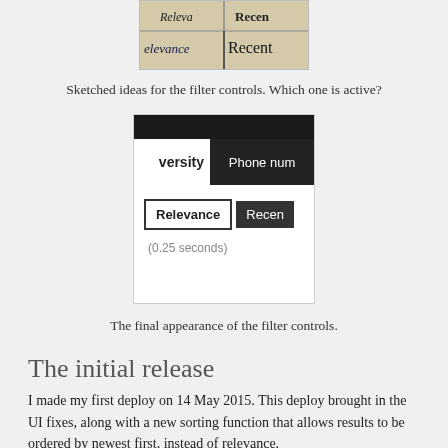[Figure (screenshot): Partial screenshot of a hand-drawn sketch showing a table with 'elevance' and 'Recent' handwritten text, on beige paper background.]
Sketched ideas for the filter controls. Which one is active?
[Figure (screenshot): Screenshot of a UI with a dark top bar, a row showing 'versity' text and 'Phone num' button in dark background, a 'Relevance' outlined button and 'Recen' dark button, and '(0.25 seconds)' text below.]
The final appearance of the filter controls.
The initial release
I made my first deploy on 14 May 2015. This deploy brought in the UI fixes, along with a new sorting function that allows results to be ordered by newest first, instead of relevance.
[Figure (screenshot): Partial screenshot of a web application interface at the bottom of the page.]